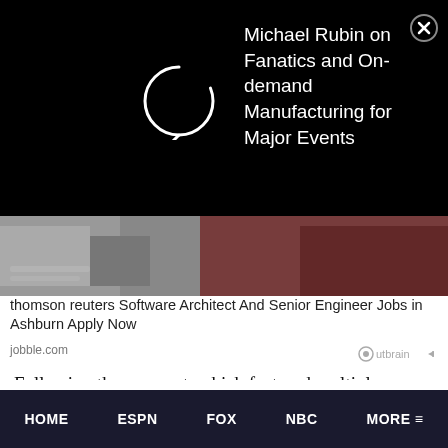[Figure (screenshot): Black ad banner with circular loading/logo icon on left and text 'Michael Rubin on Fanatics and On-demand Manufacturing for Major Events' on right, with X close button]
[Figure (photo): Person working at laptop/keyboard, partial view of hands and desk]
thomson reuters Software Architect And Senior Engineer Jobs in Ashburn Apply Now
jobble.com
Outbrain logo
Following the segment, which featured multiple people talking about the state of the program, Miami officials were “embarrassed” according to Andrea Adelson.
HOME   ESPN   FOX   NBC   MORE ≡